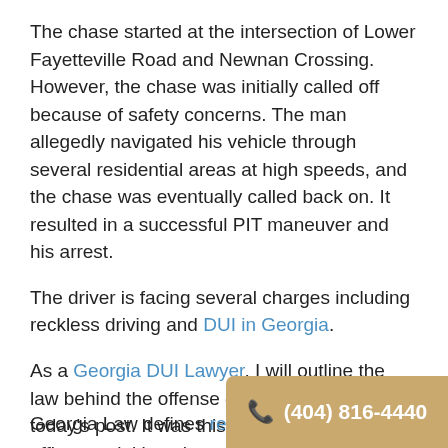The chase started at the intersection of Lower Fayetteville Road and Newnan Crossing. However, the chase was initially called off because of safety concerns. The man allegedly navigated his vehicle through several residential areas at high speeds, and the chase was eventually called back on. It resulted in a successful PIT maneuver and his arrest.
The driver is facing several charges including reckless driving and DUI in Georgia.
As a Georgia DUI Lawyer, I will outline the law behind the offense of reckless driving in today's post. It was this offense that led officers to initiate the stop and alerted them to investigating what exactly was going on with the driver.
Reckless Driving in Georgia
Georgia Law defines reckless driving in Georgia in O.C.G.A.